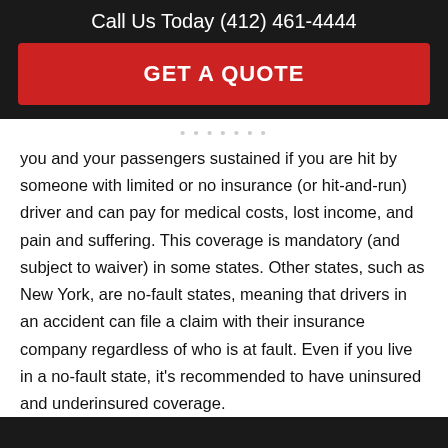Call Us Today (412) 461-4444
GET A QUOTE
you and your passengers sustained if you are hit by someone with limited or no insurance (or hit-and-run) driver and can pay for medical costs, lost income, and pain and suffering. This coverage is mandatory (and subject to waiver) in some states. Other states, such as New York, are no-fault states, meaning that drivers in an accident can file a claim with their insurance company regardless of who is at fault. Even if you live in a no-fault state, it’s recommended to have uninsured and underinsured coverage.